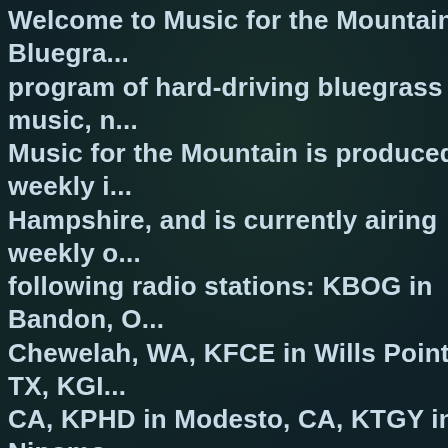Welcome to Music for the Mountain Bluegrass program of hard-driving bluegrass music, no... Music for the Mountain is produced weekly in Hampshire, and is currently airing weekly on the following radio stations: KBOG in Bandon, O... Chewelah, WA, KFCE in Wills Point, TX, KGI... CA, KPHD in Modesto, CA, KTGY in Nipomo... Florence, OR, WDRT in Viroqua, WI, WEJP in... WV, WHPW in Harpswell, Maine, WMNB in N... MA, WNEC in Henniker, NH, WNPA in Canton... WOOL in Bellows Falls, VT, WOTR in Weston... in Angelica, NY, WRST (streaming service or... Oshkosh, WI, WYAP in Clay, WV, WXDR in N... LA, WXHR in Hillman, MI, WZNC in Littleton,... Radio 88.9 FM in Strathcona County, Alberta,... Community Radio (streaming service to radi...